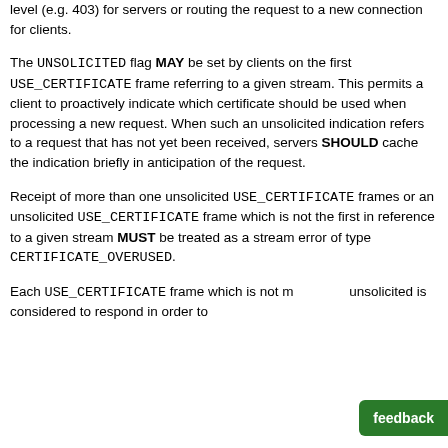level (e.g. 403) for servers or routing the request to a new connection for clients.
The UNSOLICITED flag MAY be set by clients on the first USE_CERTIFICATE frame referring to a given stream. This permits a client to proactively indicate which certificate should be used when processing a new request. When such an unsolicited indication refers to a request that has not yet been received, servers SHOULD cache the indication briefly in anticipation of the request.
Receipt of more than one unsolicited USE_CERTIFICATE frames or an unsolicited USE_CERTIFICATE frame which is not the first in reference to a given stream MUST be treated as a stream error of type CERTIFICATE_OVERUSED.
Each USE_CERTIFICATE frame which is not marked as unsolicited is considered to respond in order to the